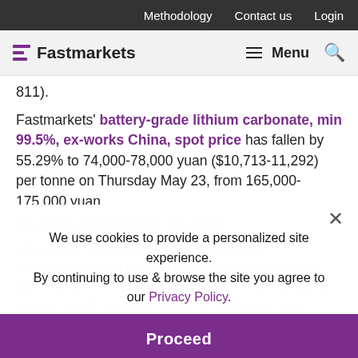Methodology   Contact us   Login
[Figure (logo): Fastmarkets logo with purple horizontal bars and wordmark, plus Menu and search icon navigation]
811).
Fastmarkets' battery-grade lithium carbonate, min 99.5%, ex-works China, spot price has fallen by 55.29% to 74,000-78,000 yuan ($10,713-11,292) per tonne on Thursday May 23, from 165,000-175,000 yuan per tonne on December 21, 2017.
Meanwhile, Fastmarkets' lithium hydroxide monohydrate (min 56.5% LiOH·H2O) spot price has fallen by 42.09% over the same comparison period to 83,000-88,000 yuan per tonne on Thursday, from 143,000-150,000...
We use cookies to provide a personalized site experience. By continuing to use & browse the site you agree to our Privacy Policy.
Proceed
The current market situation has given pace to a